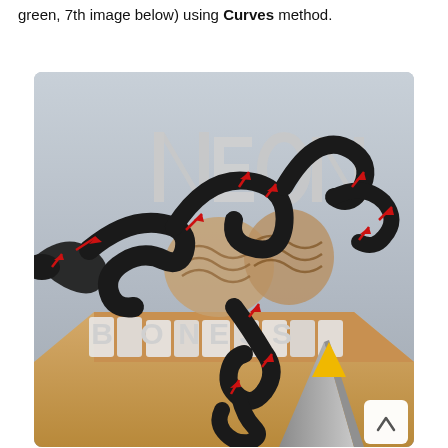green, 7th image below) using Curves method.
[Figure (illustration): A 3D illustration showing a dark curved snake-like shape with red arrows indicating direction of curves, overlaid on a complex 3D typographic scene spelling 'NEON YOUR BUSINESS' with mixed materials including fabric, metal letters on a cardboard box. A yellow upward arrow appears at the bottom right. Red directional arrows are scattered throughout the snake/curve shape.]